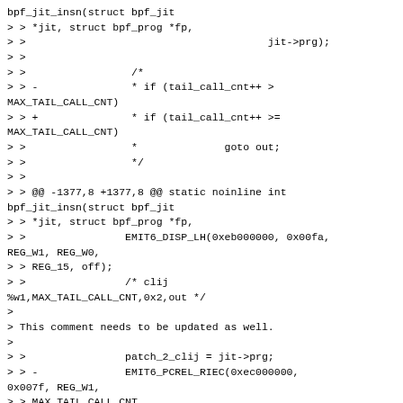bpf_jit_insn(struct bpf_jit
> > *jit, struct bpf_prog *fp,
> >                                       jit->prg);
> >
> >                 /*
> > -               * if (tail_call_cnt++ >
MAX_TAIL_CALL_CNT)
> > +               * if (tail_call_cnt++ >=
MAX_TAIL_CALL_CNT)
> >                 *              goto out;
> >                 */
> >
> > @@ -1377,8 +1377,8 @@ static noinline int
bpf_jit_insn(struct bpf_jit
> > *jit, struct bpf_prog *fp,
> >                EMIT6_DISP_LH(0xeb000000, 0x00fa,
REG_W1, REG_W0,
> > REG_15, off);
> >                /* clij
%w1,MAX_TAIL_CALL_CNT,0x2,out */
>
> This comment needs to be updated as well.
>
> >                patch_2_clij = jit->prg;
> > -              EMIT6_PCREL_RIEC(0xec000000,
0x007f, REG_W1,
> > MAX_TAIL_CALL_CNT,
> > -                              2, jit->prg);
> > +              EMIT6_PCREL_RIEC(0xec000000,
0x007f, REG_W1,